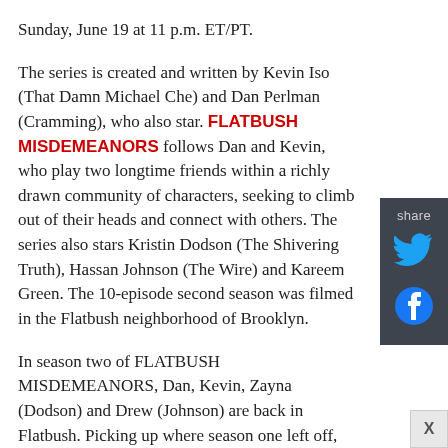Sunday, June 19 at 11 p.m. ET/PT.
The series is created and written by Kevin Iso (That Damn Michael Che) and Dan Perlman (Cramming), who also star. FLATBUSH MISDEMEANORS follows Dan and Kevin, who play two longtime friends within a richly drawn community of characters, seeking to climb out of their heads and connect with others. The series also stars Kristin Dodson (The Shivering Truth), Hassan Johnson (The Wire) and Kareem Green. The 10-episode second season was filmed in the Flatbush neighborhood of Brooklyn.
In season two of FLATBUSH MISDEMEANORS, Dan, Kevin, Zayna (Dodson) and Drew (Johnson) are back in Flatbush. Picking up where season one left off, Kevin tries to distance himself from Drew's